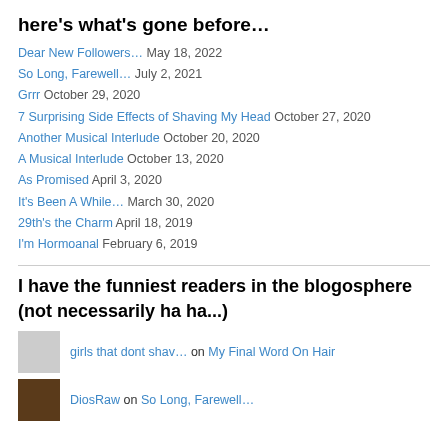here's what's gone before…
Dear New Followers… May 18, 2022
So Long, Farewell… July 2, 2021
Grrr October 29, 2020
7 Surprising Side Effects of Shaving My Head October 27, 2020
Another Musical Interlude October 20, 2020
A Musical Interlude October 13, 2020
As Promised April 3, 2020
It's Been A While… March 30, 2020
29th's the Charm April 18, 2019
I'm Hormoanal February 6, 2019
I have the funniest readers in the blogosphere (not necessarily ha ha...)
girls that dont shav… on My Final Word On Hair
DiosRaw on So Long, Farewell…